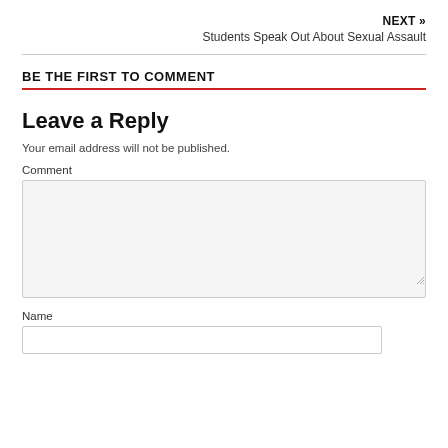NEXT »
Students Speak Out About Sexual Assault
BE THE FIRST TO COMMENT
Leave a Reply
Your email address will not be published.
Comment
Name